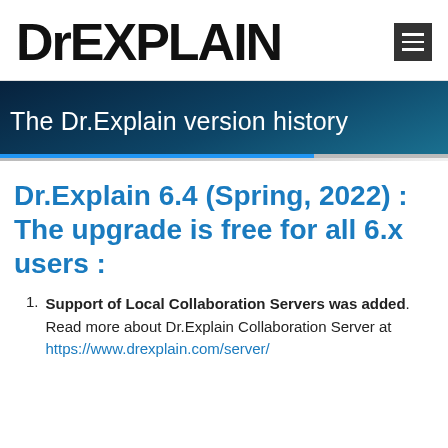DREXPLAIN
The Dr.Explain version history
Dr.Explain 6.4 (Spring, 2022) : The upgrade is free for all 6.x users :
Support of Local Collaboration Servers was added. Read more about Dr.Explain Collaboration Server at https://www.drexplain.com/server/